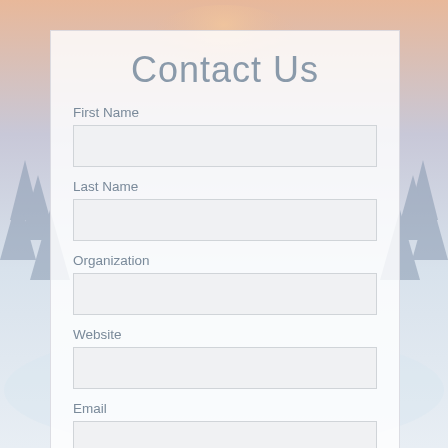Contact Us
First Name
Last Name
Organization
Website
Email